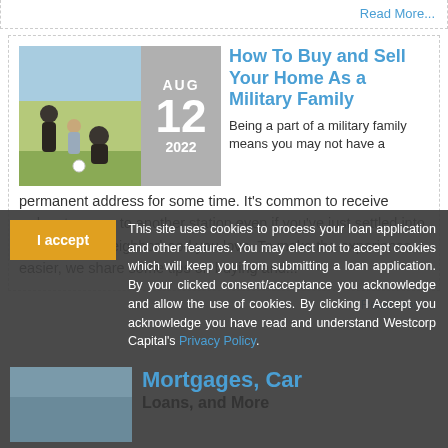Read More...
How To Buy and Sell Your Home As a Military Family
Being a part of a military family means you may not have a permanent address for some time. It’s common to receive orders to move to another station even if you’ve just settled into a house and neighborhood you love. To make the experience easier, we share some tips on buying and...
Read More...
I accept
This site uses cookies to process your loan application and other features. You may elect not to accept cookies which will keep you from submitting a loan application. By your clicked consent/acceptance you acknowledge and allow the use of cookies. By clicking I Accept you acknowledge you have read and understand Westcorp Capital’s Privacy Policy.
Mortgages, Car Loans, and More